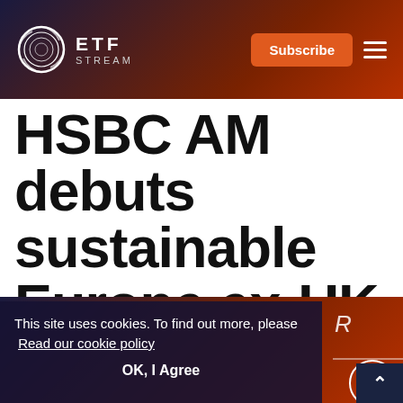ETF STREAM
HSBC AM debuts sustainable Europe ex-UK ETF
This site uses cookies. To find out more, please Read our cookie policy
OK, I Agree